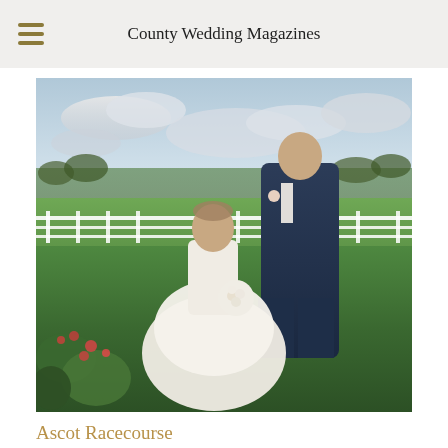County Wedding Magazines
[Figure (photo): Wedding couple standing on racecourse grounds. Bride in white strapless ball gown holding white bouquet, groom in navy suit. White racing fences and green grass in background, cloudy sky above, pink flowers in foreground.]
Ascot Racecourse
Venues, Ascot, Berkshire